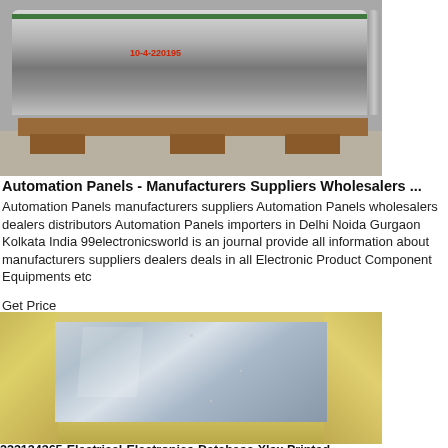[Figure (photo): Large metal roll/coil on a wooden pallet in an industrial warehouse setting]
Automation Panels - Manufacturers Suppliers Wholesalers ...
Automation Panels manufacturers suppliers Automation Panels wholesalers dealers distributors Automation Panels importers in Delhi Noida Gurgaon Kolkata India 99electronicsworld is an journal provide all information about manufacturers suppliers dealers deals in all Electronic Product Component Equipments etc
Get Price
[Figure (photo): Flat sheet metal panel unwrapped from protective yellow/tan packaging material]
223134365-Electrical-Electronics-Database-Xlsx Printed